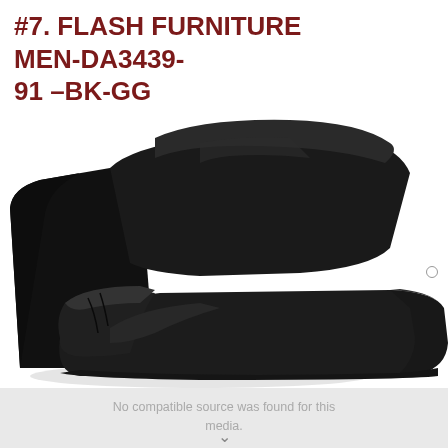#7. FLASH FURNITURE MEN-DA3439-91 –BK-GG
[Figure (photo): Black leather recliner chair shown at an angle, with padded headrest, armrests, and seat cushion visible. The upper portion shows the product photo while the lower portion shows a video player overlay with 'No compatible source was found for this media.' error message and a thumbnail of the same product.]